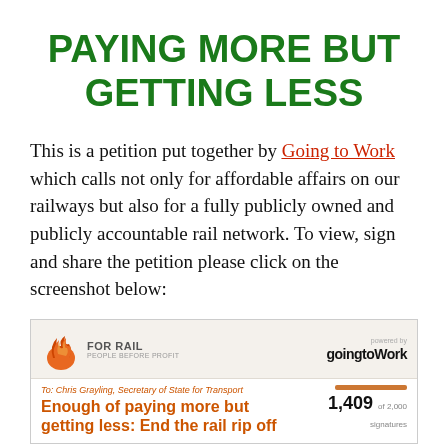PAYING MORE BUT GETTING LESS
This is a petition put together by Going to Work which calls not only for affordable affairs on our railways but also for a fully publicly owned and publicly accountable rail network. To view, sign and share the petition please click on the screenshot below:
[Figure (screenshot): Screenshot of a petition page on the goingtoWork platform. Shows a logo for 'For Rail – People Before Profit' on the left, 'powered by goingtoWork' on the right, addressed to Chris Grayling, Secretary of State for Transport. Title reads 'Enough of paying more but getting less: End the rail rip off'. Signature count shows 1,409 of 2,000 signatures with a progress bar.]